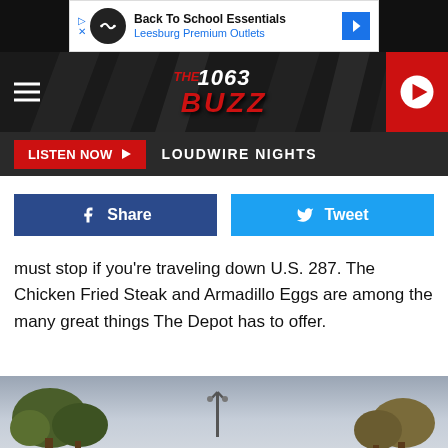[Figure (screenshot): Advertisement banner: Back To School Essentials - Leesburg Premium Outlets]
[Figure (screenshot): The 1063 Buzz radio station header with hamburger menu and play button]
[Figure (screenshot): Listen Now button bar with LOUDWIRE NIGHTS text]
[Figure (screenshot): Facebook Share and Twitter Tweet social buttons]
must stop if you're traveling down U.S. 287. The Chicken Fried Steak and Armadillo Eggs are among the many great things The Depot has to offer.
[Figure (photo): Outdoor photo showing trees and a street lamp under a cloudy sky]